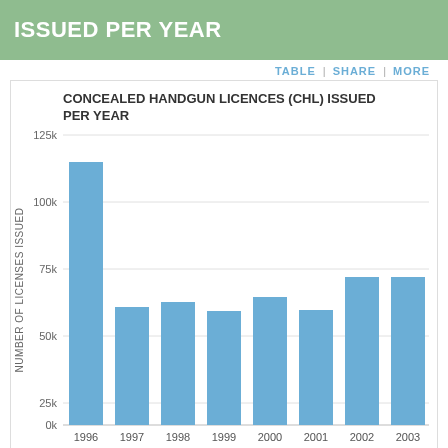ISSUED PER YEAR
TABLE | SHARE | MORE
[Figure (bar-chart): CONCEALED HANDGUN LICENCES (CHL) ISSUED PER YEAR]
Source: Texas Department of Public Safety.